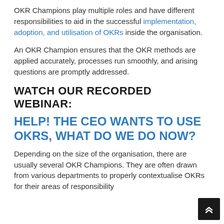OKR Champions play multiple roles and have different responsibilities to aid in the successful implementation, adoption, and utilisation of OKRs inside the organisation.
An OKR Champion ensures that the OKR methods are applied accurately, processes run smoothly, and arising questions are promptly addressed.
WATCH OUR RECORDED WEBINAR:
HELP! THE CEO WANTS TO USE OKRS, WHAT DO WE DO NOW?
Depending on the size of the organisation, there are usually several OKR Champions. They are often drawn from various departments to properly contextualise OKRs for their areas of responsibility...